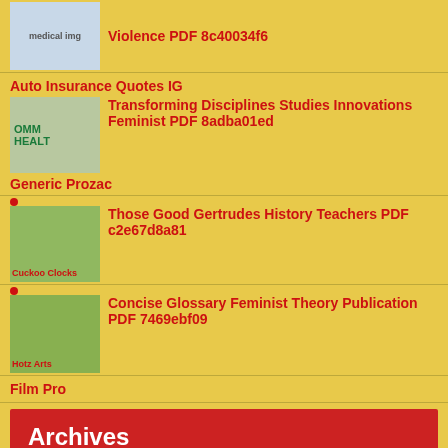Violence PDF 8c40034f6
Auto Insurance Quotes IG
Transforming Disciplines Studies Innovations Feminist PDF 8adba01ed
Generic Prozac
Those Good Gertrudes History Teachers PDF c2e67d8a81
Cuckoo Clocks
Concise Glossary Feminist Theory Publication PDF 7469ebf09
Hotz Arts
Film Pro
Archives
August 2022 (42)
SM Discuz
July 2022 (54)
June 2022 (67)